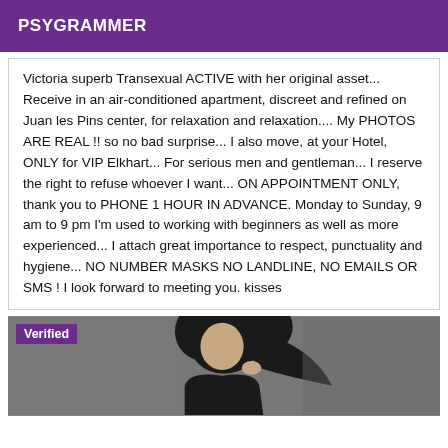PSYGRAMMER
Victoria superb Transexual ACTIVE with her original asset... Receive in an air-conditioned apartment, discreet and refined on Juan les Pins center, for relaxation and relaxation.... My PHOTOS ARE REAL !! so no bad surprise... I also move, at your Hotel, ONLY for VIP Elkhart... For serious men and gentleman... I reserve the right to refuse whoever I want... ON APPOINTMENT ONLY, thank you to PHONE 1 HOUR IN ADVANCE. Monday to Sunday, 9 am to 9 pm I'm used to working with beginners as well as more experienced... I attach great importance to respect, punctuality and hygiene... NO NUMBER MASKS NO LANDLINE, NO EMAILS OR SMS ! I look forward to meeting you. kisses
[Figure (photo): Photo of a person with dark hair against a grey background, with a 'Verified' badge in the top-left corner]